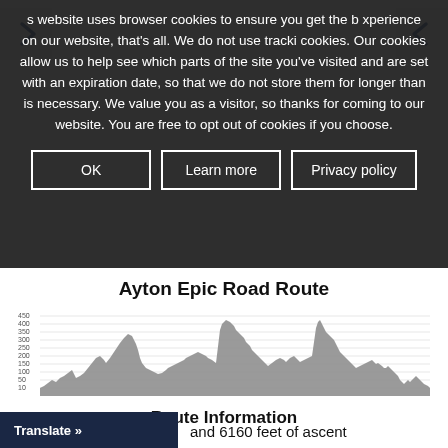s website uses browser cookies to ensure you get the b xperience on our website, that's all. We do not use tracki cookies. Our cookies allow us to help see which parts of the site you've visited and are set with an expiration date, so that we do not store them for longer than is necessary. We value you as a visitor, so thanks for coming to our website. You are free to opt out of cookies if you choose.
OK
Learn more
Privacy policy
Ayton Epic Road Route
[Figure (continuous-plot): Elevation profile chart for Ayton Epic Road Route showing elevation changes along the route distance. Y-axis shows elevation values from approximately 10 to 450. The profile shows multiple hills and valleys with peaks reaching around 400 units.]
Route Information
and 6160 feet of ascent